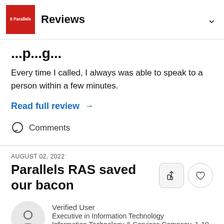Reviews
...p...g...
Every time I called, I always was able to speak to a person within a few minutes.
Read full review →
Comments
AUGUST 02, 2022
Parallels RAS saved our bacon
Verified User
Executive in Information Technology
Information Technology & Services Company, 1-10 employees